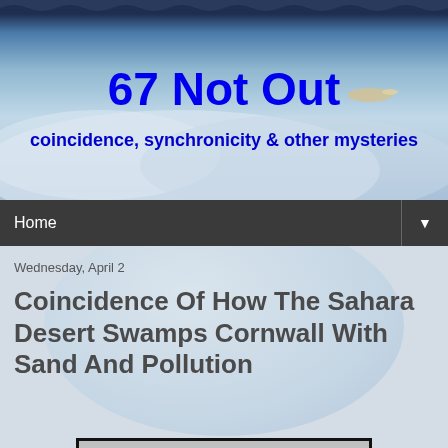[Figure (photo): Blog header banner with sky and clouds background]
67 Not Out
coincidence, synchronicity & other mysteries
Home ▼
Wednesday, April 2
Coincidence Of How The Sahara Desert Swamps Cornwall With Sand And Pollution
[Figure (photo): Small thumbnail image at bottom of page, black border, appears to show a figure or profile]